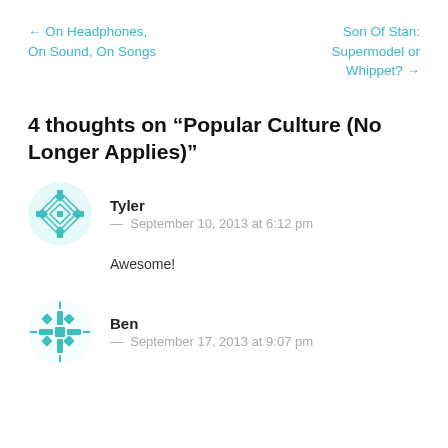← On Headphones, On Sound, On Songs
Son Of Stan: Supermodel or Whippet? →
4 thoughts on “Popular Culture (No Longer Applies)”
Tyler
— September 10, 2013 at 6:12 pm
Awesome!
Ben
— September 17, 2013 at 9:07 pm